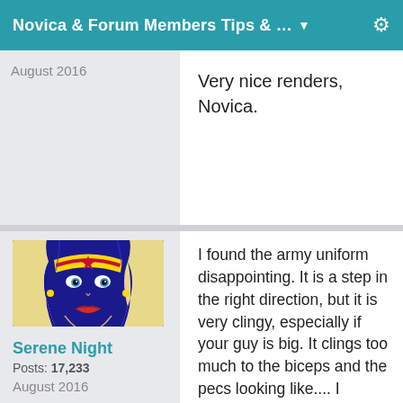Novica & Forum Members Tips & ... ▼
Very nice renders, Novica.
August 2016
Serene Night
Posts: 17,233
August 2016
I found the army uniform disappointing. It is a step in the right direction, but it is very clingy, especially if your guy is big. It clings too much to the biceps and the pecs looking like.... I dunno... Too tight for movement especially on a muscular guys. It almost seems designed to fit ladies.  I do like the weapon, and the goggles. I agree about the pack. The textuers are nice add-on but I'd really like a shirt